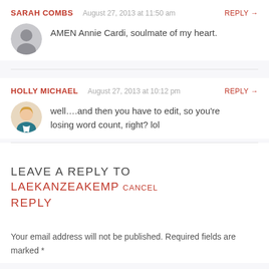SARAH COMBS  August 27, 2013 at 11:50 am  REPLY →
AMEN Annie Cardi, soulmate of my heart.
HOLLY MICHAEL  August 27, 2013 at 10:12 pm  REPLY →
well….and then you have to edit, so you're losing word count, right? lol
LEAVE A REPLY TO LAEKANZEAKEMP CANCEL REPLY
Your email address will not be published. Required fields are marked *